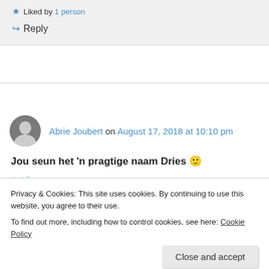★ Liked by 1 person
↪ Reply
Abrie Joubert on August 17, 2018 at 10:10 pm
Jou seun het 'n pragtige naam Dries 🙂
★ Like
Privacy & Cookies: This site uses cookies. By continuing to use this website, you agree to their use.
To find out more, including how to control cookies, see here: Cookie Policy
Close and accept